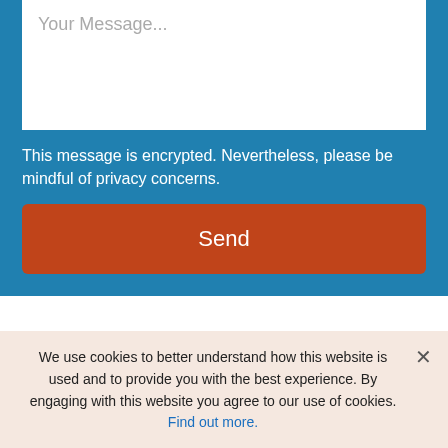Your Message...
This message is encrypted. Nevertheless, please be mindful of privacy concerns.
Send
Serving families in Butte, Great Falls and neighboring communities.
We use cookies to better understand how this website is used and to provide you with the best experience. By engaging with this website you agree to our use of cookies. Find out more.